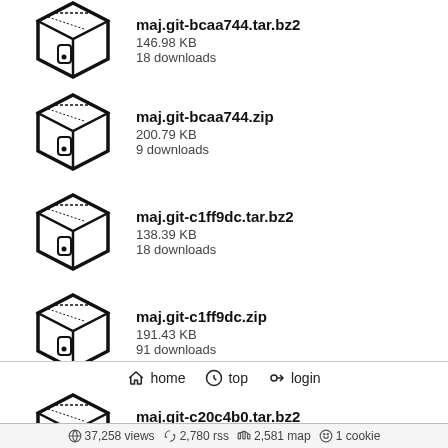maj.git-bcaa744.tar.bz2
146.98 KB
18 downloads
maj.git-bcaa744.zip
200.79 KB
9 downloads
maj.git-c1ff9dc.tar.bz2
138.39 KB
18 downloads
maj.git-c1ff9dc.zip
191.43 KB
91 downloads
maj.git-c20c4b0.tar.bz2
151.64 KB
16 downloads
maj.git-c20c4b0.zip
210.79 KB
7 downloads
home  top  login
37,258 views  2,780 rss  2,581 map  1 cookie